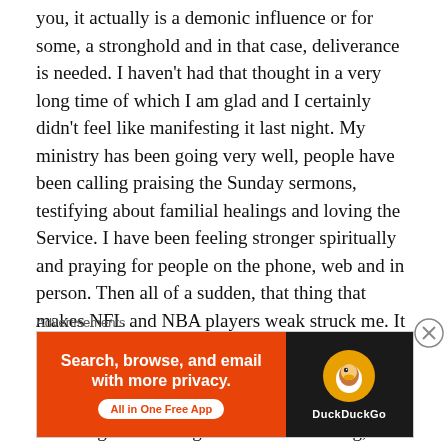you, it actually is a demonic influence or for some, a stronghold and in that case, deliverance is needed. I haven't had that thought in a very long time of which I am glad and I certainly didn't feel like manifesting it last night. My ministry has been going very well, people have been calling praising the Sunday sermons, testifying about familial healings and loving the Service. I have been feeling stronger spiritually and praying for people on the phone, web and in person. Then all of a sudden, that thing that makes NFL and NBA players weak struck me. It was like an inside, mental battle. Joyce Meyer was so right when she said, “the mind is a battlefield.” I was fighting myself. I remember wrestling and looking at the clock thinking, “Oh Lord, it’s 3:00 a.m. already and I am not
Advertisements
[Figure (other): DuckDuckGo advertisement banner: orange left panel with text 'Search, browse, and email with more privacy. All in One Free App' and a white button, dark right panel with DuckDuckGo duck logo and brand name.]